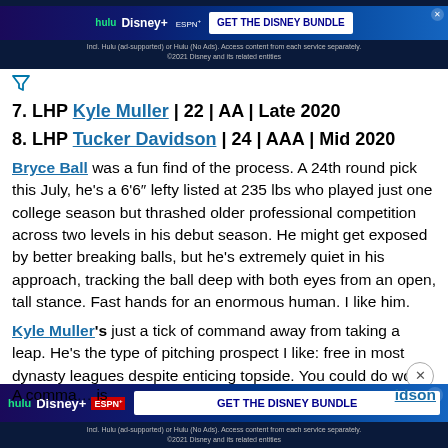[Figure (screenshot): Top advertisement banner: Disney bundle ad showing Hulu, Disney+, ESPN+. Text: 'Incl. Hulu (ad-supported) or Hulu (No Ads). Access content from each service separately. ©2021 Disney and its related entities']
[Figure (other): Filter/funnel icon in teal/blue color]
7. LHP Kyle Muller | 22 | AA | Late 2020
8. LHP Tucker Davidson | 24 | AAA | Mid 2020
Bryce Ball was a fun find of the process. A 24th round pick this July, he's a 6'6" lefty listed at 235 lbs who played just one college season but thrashed older professional competition across two levels in his debut season. He might get exposed by better breaking balls, but he's extremely quiet in his approach, tracking the ball deep with both eyes from an open, tall stance. Fast hands for an enormous human. I like him.
Kyle Muller's just a tick of command away from taking a leap. He's the type of pitching prospect I like: free in most dynasty leagues despite enticing topside. You could do worse with a spec spot than a 6'6" lefty with three major-league-quality pitches (f
[Figure (screenshot): Bottom advertisement banner: Disney bundle ad. Logos: Hulu, Disney+, ESPN+. CTA button: 'GET THE DISNEY BUNDLE'. Text: 'Incl. Hulu (ad-supported) or Hulu (No Ads). Access content from each service separately. ©2021 Disney and its related entities']
A comma…                                                                                                            idson is